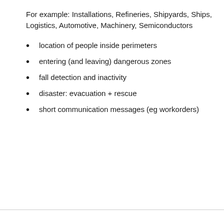For example: Installations, Refineries, Shipyards, Ships, Logistics, Automotive, Machinery, Semiconductors
location of people inside perimeters
entering (and leaving) dangerous zones
fall detection and inactivity
disaster: evacuation + rescue
short communication messages (eg workorders)